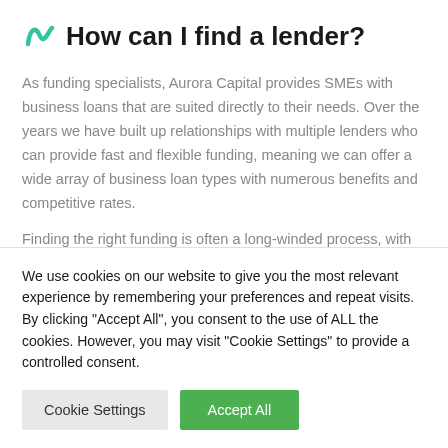How can I find a lender?
As funding specialists, Aurora Capital provides SMEs with business loans that are suited directly to their needs. Over the years we have built up relationships with multiple lenders who can provide fast and flexible funding, meaning we can offer a wide array of business loan types with numerous benefits and competitive rates.
Finding the right funding is often a long-winded process, with plenty of variables to consider from all
We use cookies on our website to give you the most relevant experience by remembering your preferences and repeat visits. By clicking "Accept All", you consent to the use of ALL the cookies. However, you may visit "Cookie Settings" to provide a controlled consent.